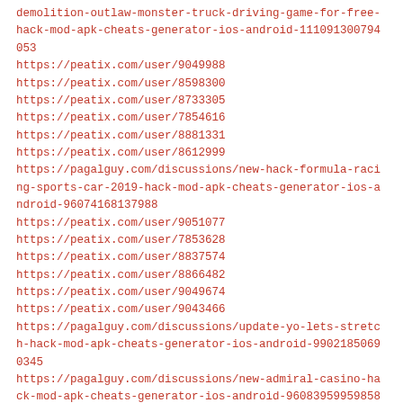demolition-outlaw-monster-truck-driving-game-for-free-hack-mod-apk-cheats-generator-ios-android-111091300794053
https://peatix.com/user/9049988
https://peatix.com/user/8598300
https://peatix.com/user/8733305
https://peatix.com/user/7854616
https://peatix.com/user/8881331
https://peatix.com/user/8612999
https://pagalguy.com/discussions/new-hack-formula-racing-sports-car-2019-hack-mod-apk-cheats-generator-ios-android-96074168137988
https://peatix.com/user/9051077
https://peatix.com/user/7853628
https://peatix.com/user/8837574
https://peatix.com/user/8866482
https://peatix.com/user/9049674
https://peatix.com/user/9043466
https://pagalguy.com/discussions/update-yo-lets-stretch-hack-mod-apk-cheats-generator-ios-android-99021850690345
https://pagalguy.com/discussions/new-admiral-casino-hack-mod-apk-cheats-generator-ios-android-96083959959858
https://peatix.com/user/9049241